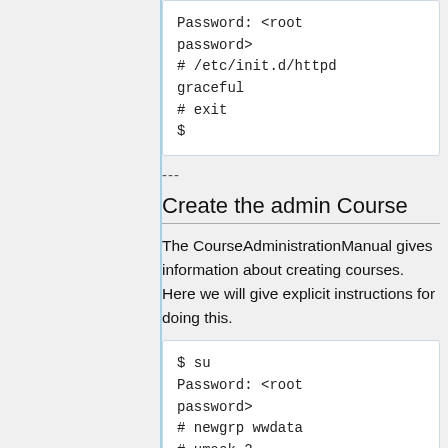Password: <root password>
# /etc/init.d/httpd graceful
# exit
$
---
Create the admin Course
The CourseAdministrationManual gives information about creating courses. Here we will give explicit instructions for doing this.
$ su
Password: <root password>
# newgrp wwdata
# umask 2